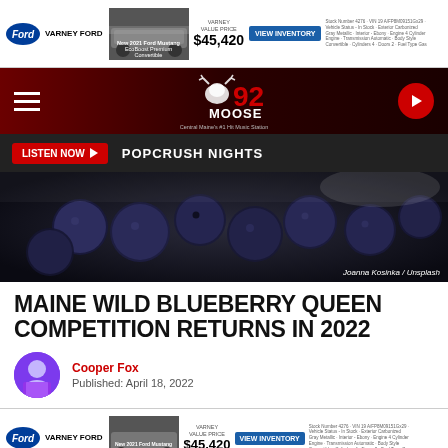[Figure (other): Varney Ford advertisement banner showing a 2021 Ford Mustang EcoBoost Premium Convertible with price $45,420 and VIEW INVENTORY button]
[Figure (other): 92 Moose radio station navigation bar with hamburger menu, moose logo, and play button]
[Figure (other): Listen Now button with POPCRUSH NIGHTS text on dark bar]
[Figure (photo): Close-up photo of fresh blueberries. Credit: Joanna Kosinka / Unsplash]
MAINE WILD BLUEBERRY QUEEN COMPETITION RETURNS IN 2022
Cooper Fox
Published: April 18, 2022
[Figure (other): Varney Ford advertisement banner (bottom) showing a 2021 Ford Mustang EcoBoost Premium Convertible with price $45,420 and VIEW INVENTORY button]